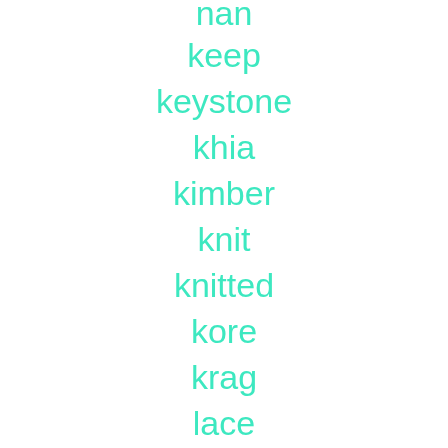nan
keep
keystone
khia
kimber
knit
knitted
kore
krag
lace
lacing
large
lat